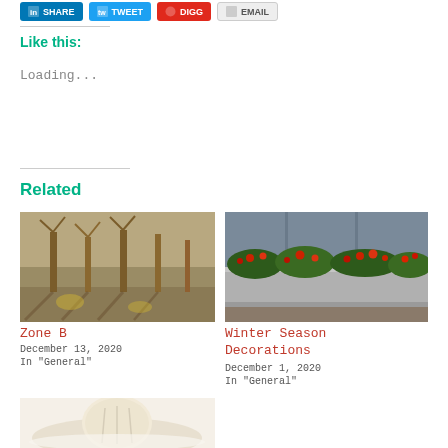[Figure (other): Row of social share buttons: LinkedIn, Twitter, Digg, Email]
Like this:
Loading...
Related
[Figure (photo): Photo of bare winter trees with yellow trunks casting shadows on ground]
Zone B
December 13, 2020
In "General"
[Figure (photo): Photo of winter floral decorations in a concrete planter box with red flowers and greenery]
Winter Season Decorations
December 1, 2020
In "General"
[Figure (photo): Partial photo of a light-colored object on a white plate, cropped at bottom of page]